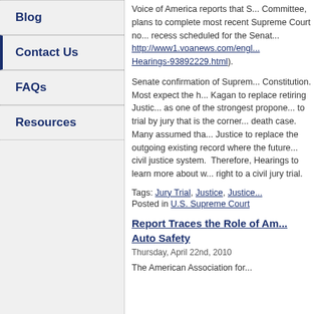Blog
Contact Us
FAQs
Resources
Voice of America reports that S... Committee, plans to complete... most recent Supreme Court no... recess scheduled for the Senat... http://www1.voanews.com/engl... Hearings-93892229.html).
Senate confirmation of Suprem... Constitution. Most expect the h... Kagan to replace retiring Justic... as one of the strongest propone... to trial by jury that is the corner... death case. Many assumed tha... Justice to replace the outgoing... existing record where the future... civil justice system. Therefore,... Hearings to learn more about w... right to a civil jury trial.
Tags: Jury Trial, Justice, Justice... Posted in U.S. Supreme Court
Report Traces the Role of Am... Auto Safety
Thursday, April 22nd, 2010
The American Association for...